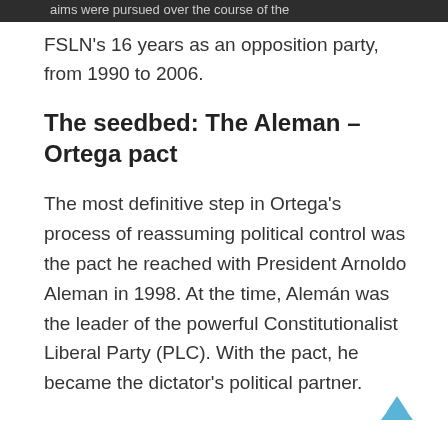aims were pursued over the course of the FSLN's 16 years as an opposition party, from 1990 to 2006.
The seedbed: The Aleman – Ortega pact
The most definitive step in Ortega's process of reassuming political control was the pact he reached with President Arnoldo Aleman in 1998. At the time, Alemán was the leader of the powerful Constitutionalist Liberal Party (PLC). With the pact, he became the dictator's political partner.